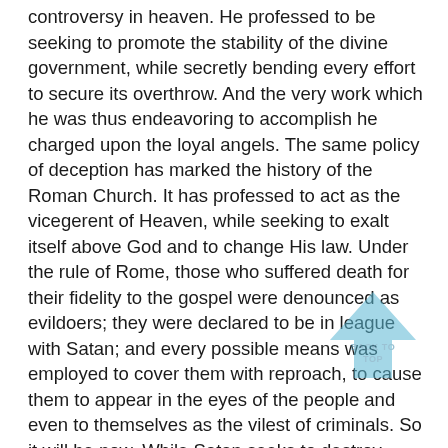controversy in heaven. He professed to be seeking to promote the stability of the divine government, while secretly bending every effort to secure its overthrow. And the very work which he was thus endeavoring to accomplish he charged upon the loyal angels. The same policy of deception has marked the history of the Roman Church. It has professed to act as the vicegerent of Heaven, while seeking to exalt itself above God and to change His law. Under the rule of Rome, those who suffered death for their fidelity to the gospel were denounced as evildoers; they were declared to be in league with Satan; and every possible means was employed to cover them with reproach, to cause them to appear in the eyes of the people and even to themselves as the vilest of criminals. So it will be now. While Satan seeks to destroy those who honor God's law, he will cause them to be accused as lawbreakers, as men who are dishonoring God and bringing judgments upon the world.
[Figure (illustration): A light blue upward-pointing arrow/chevron icon with the text 'BACK TO TOP' overlaid, used as a navigation button.]